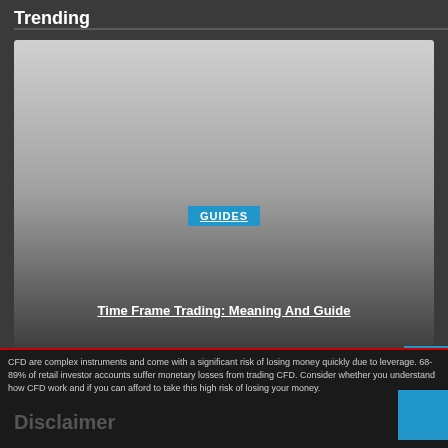Trending
[Figure (screenshot): A card image with gradient from light grey at top to dark grey at bottom, showing a 'GUIDES' blue badge label and article title 'Time Frame Trading: Meaning And Guide' in white underlined text at bottom]
GUIDES
Time Frame Trading: Meaning And Guide
CFD are complex instruments and come with a significant risk of losing money quickly due to leverage. 68-89% of retail investor accounts suffer monetary losses from trading CFD. Consider whether you understand how CFD work and if you can afford to take this high risk of losing your money.
Disclaimer